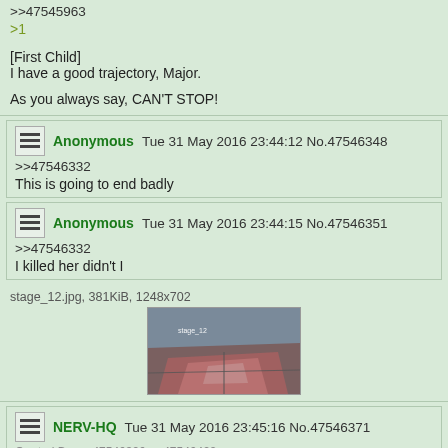>>47545963
>1

[First Child]
I have a good trajectory, Major.

As you always say, CAN'T STOP!
Anonymous Tue 31 May 2016 23:44:12 No.47546348
>>47546332
This is going to end badly
Anonymous Tue 31 May 2016 23:44:15 No.47546351
>>47546332
I killed her didn't I
stage_12.jpg, 381KiB, 1248x702
[Figure (screenshot): Thumbnail of stage_12.jpg showing an aerial/satellite view with reddish-brown terrain]
NERV-HQ Tue 31 May 2016 23:45:16 No.47546371
Quoted By: >>47546396 >>47546422